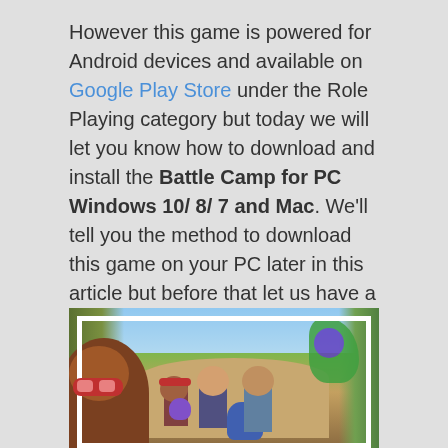However this game is powered for Android devices and available on Google Play Store under the Role Playing category but today we will let you know how to download and install the Battle Camp for PC Windows 10/ 8/ 7 and Mac. We'll tell you the method to download this game on your PC later in this article but before that let us have a look and know more about the game itself.
[Figure (screenshot): Screenshot of Battle Camp game showing colorful cartoon characters and monsters in a forest battle scene]